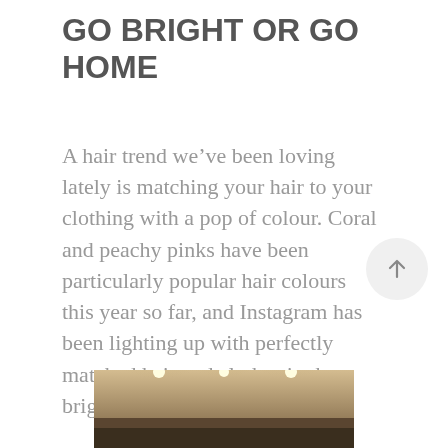GO BRIGHT OR GO HOME
A hair trend we’ve been loving lately is matching your hair to your clothing with a pop of colour. Coral and peachy pinks have been particularly popular hair colours this year so far, and Instagram has been lighting up with perfectly matched hair and clothes in these bright and pretty shades.
[Figure (photo): Partial photo of an interior room with recessed ceiling lights visible at the bottom of the page]